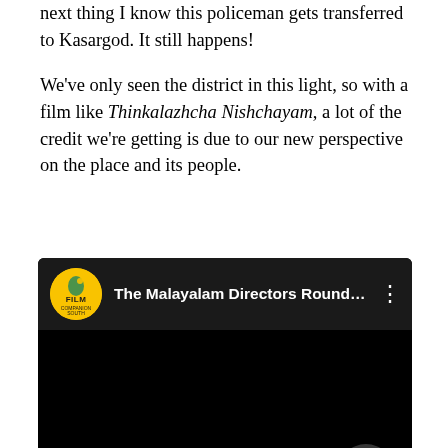next thing I know this policeman gets transferred to Kasargod. It still happens!
We've only seen the district in this light, so with a film like Thinkalazhcha Nishchayam, a lot of the credit we're getting is due to our new perspective on the place and its people.
[Figure (screenshot): YouTube video embed showing 'The Malayalam Directors Roundta...' from Film Companion South channel, with a yellow circular logo, dark header bar, black video body, and a dark circular play button in the bottom-right corner.]
Regarding why I made a film in Kasargod, it's mostly